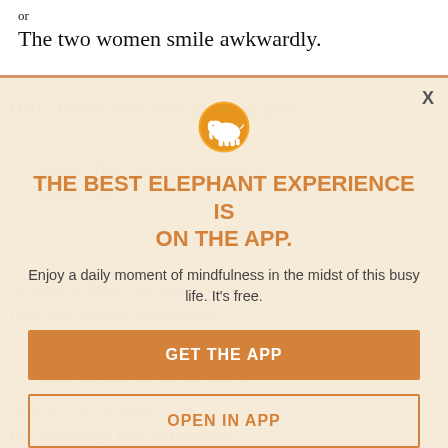The two women smile awkwardly.
[Figure (screenshot): App promotion modal overlay on top of faded book content. Contains elephant logo in orange circle, heading 'THE BEST ELEPHANT EXPERIENCE IS ON THE APP.', descriptive text, and two buttons: 'GET THE APP' and 'OPEN IN APP'. Background shows faded italic text from the underlying book content.]
THE BEST ELEPHANT EXPERIENCE IS ON THE APP.
Enjoy a daily moment of mindfulness in the midst of this busy life. It's free.
GET THE APP
OPEN IN APP